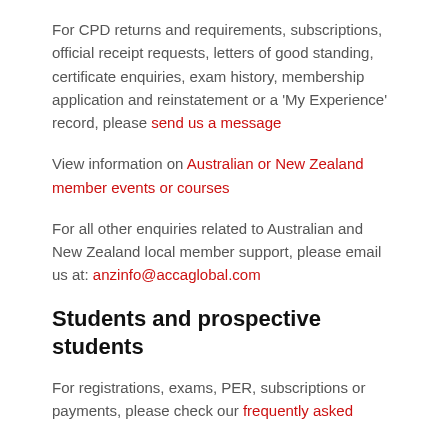For CPD returns and requirements, subscriptions, official receipt requests, letters of good standing, certificate enquiries, exam history, membership application and reinstatement or a ‘My Experience’ record, please send us a message
View information on Australian or New Zealand member events or courses
For all other enquiries related to Australian and New Zealand local member support, please email us at: anzinfo@accaglobal.com
Students and prospective students
For registrations, exams, PER, subscriptions or payments, please check our frequently asked